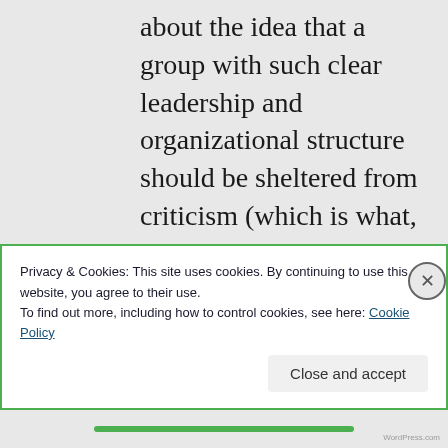about the idea that a group with such clear leadership and organizational structure should be sheltered from criticism (which is what, whether it is intended or not, this advice would amount to). This is dangerous, and an idea that atheists have rightly criticized in churches.
Privacy & Cookies: This site uses cookies. By continuing to use this website, you agree to their use. To find out more, including how to control cookies, see here: Cookie Policy